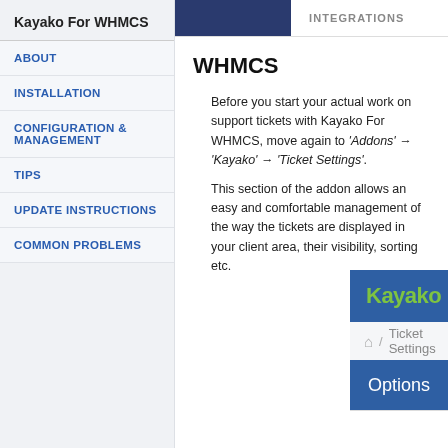Kayako For WHMCS
ABOUT
INSTALLATION
CONFIGURATION & MANAGEMENT
TIPS
UPDATE INSTRUCTIONS
COMMON PROBLEMS
INTEGRATIONS
WHMCS
Before you start your actual work on support tickets with Kayako For WHMCS, move again to 'Addons' → 'Kayako' → 'Ticket Settings'.
This section of the addon allows an easy and comfortable management of the way the tickets are displayed in your client area, their visibility, sorting etc.
[Figure (screenshot): Screenshot showing Kayako admin interface with 'Server Configuration' link and breadcrumb 'Home / Ticket Settings' and 'Options' section header]